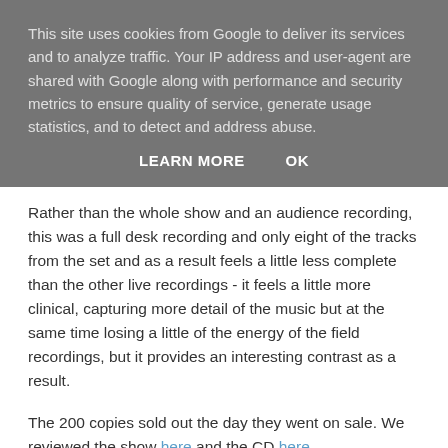This site uses cookies from Google to deliver its services and to analyze traffic. Your IP address and user-agent are shared with Google along with performance and security metrics to ensure quality of service, generate usage statistics, and to detect and address abuse.
LEARN MORE    OK
Rather than the whole show and an audience recording, this was a full desk recording and only eight of the tracks from the set and as a result feels a little less complete than the other live recordings - it feels a little more clinical, capturing more detail of the music but at the same time losing a little of the energy of the field recordings, but it provides an interesting contrast as a result.
The 200 copies sold out the day they went on sale. We reviewed the show here and the CD here.
[Figure (photo): Black and white album cover image with dark top bar containing small text, and abstract diagonal lines in the main body]